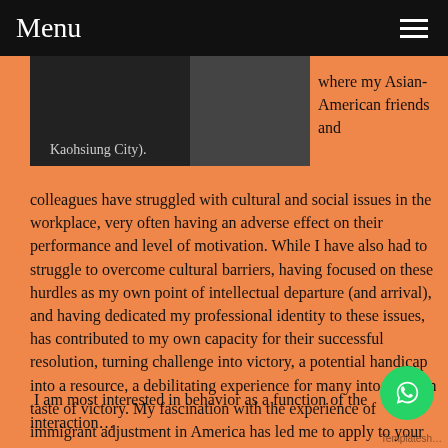Menu
[Figure (screenshot): Partial screenshot of a document or image with text 'Kaohsiung City).']
where my Asian-American friends and colleagues have struggled with cultural and social issues in the workplace, very often having an adverse effect on their performance and level of motivation. While I have also had to struggle to overcome cultural barriers, having focused on these hurdles as my own point of intellectual departure (and arrival), and having dedicated my professional identity to these issues, has contributed to my own capacity for their successful resolution, turning challenge into victory, a potential handicap into a resource, a debilitating experience for many into my own taste of victory. My fascination with the experience of immigrant adjustment in America has led me to apply to your distinguished program so as to continue to prepare myself to study our melting pot; for it is in the area of social-organizational psychology where I hope to make my mark in li…
I am most interested in behavior as a function of the interaction b…